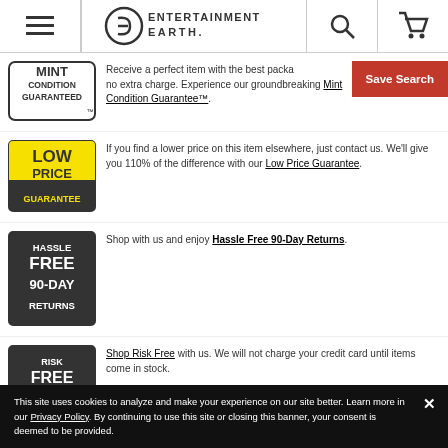Entertainment Earth header with menu, logo, search, and cart icons
Receive a perfect item with the best packaging at no extra charge. Experience our groundbreaking Mint Condition Guarantee™.
If you find a lower price on this item elsewhere, just contact us. We'll give you 110% of the difference with our Low Price Guarantee.
Shop with us and enjoy Hassle Free 90-Day Returns.
Shop Risk Free with us. We will not charge your credit card until items come in stock.
This site uses cookies to analyze and make your experience on our site better. Learn more in our Privacy Policy. By continuing to use this site or closing this banner, your consent is deemed to be provided.